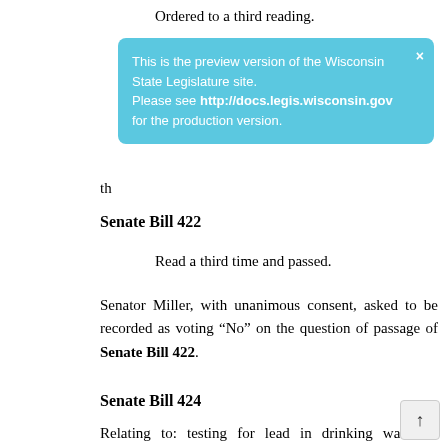Ordered to a third reading.
This is the preview version of the Wisconsin State Legislature site.
Please see http://docs.legis.wisconsin.gov for the production version.
th
Senate Bill 422
Read a third time and passed.
Senator Miller, with unanimous consent, asked to be recorded as voting “No” on the question of passage of Senate Bill 422.
Senate Bill 424
Relating to: testing for lead in drinking water in facilities used for recreational and educational camps and child care.
Read a second time.